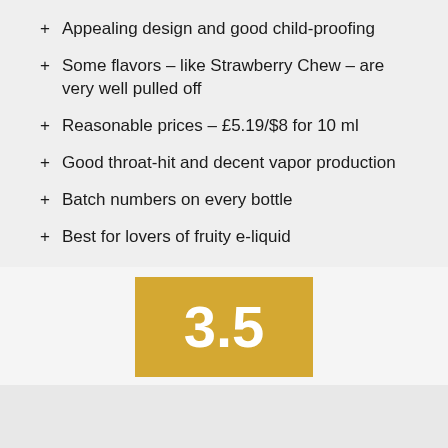+ Appealing design and good child-proofing
+ Some flavors – like Strawberry Chew – are very well pulled off
+ Reasonable prices – £5.19/$8 for 10 ml
+ Good throat-hit and decent vapor production
+ Batch numbers on every bottle
+ Best for lovers of fruity e-liquid
[Figure (other): Golden/yellow square score box displaying the number 3.5 in large white bold text]